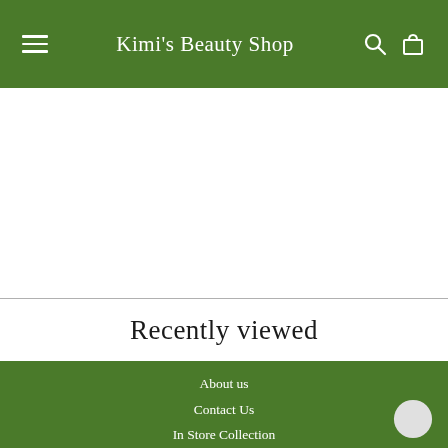Kimi's Beauty Shop
Recently viewed
About us
Contact Us
In Store Collection
Shipping Rates and Delivery Times
Return Policy